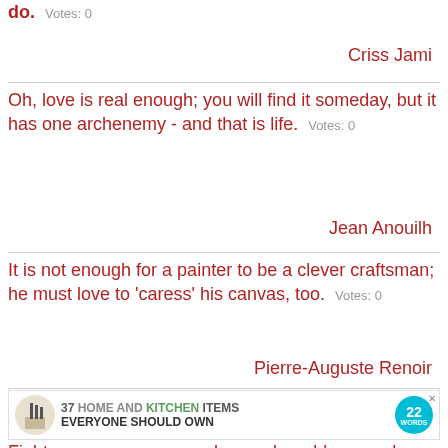do.  Votes: 0
Criss Jami
Oh, love is real enough; you will find it someday, but it has one archenemy - and that is life.  Votes: 0
Jean Anouilh
It is not enough for a painter to be a clever craftsman; he must love to 'caress' his canvas, too.  Votes: 0
Pierre-Auguste Renoir
[Figure (other): Advertisement banner: 37 Home and Kitchen Items Everyone Should Own - 22 Words]
Fight ... d enough, noble enough, powerful enough to be worth risking everything... Love.  Votes: 0